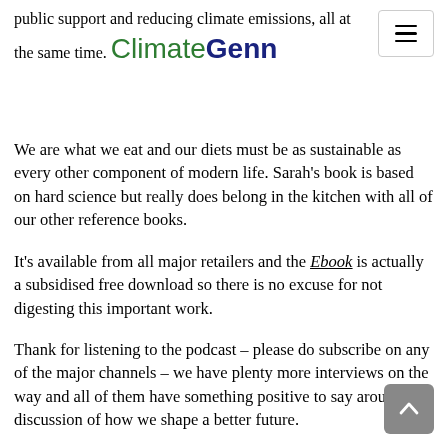public support and reducing climate emissions, all at the same time. ClimateGenn
We are what we eat and our diets must be as sustainable as every other component of modern life. Sarah's book is based on hard science but really does belong in the kitchen with all of our other reference books.
It's available from all major retailers and the Ebook is actually a subsidised free download so there is no excuse for not digesting this important work.
Thank for listening to the podcast – please do subscribe on any of the major channels – we have plenty more interviews on the way and all of them have something positive to say around the discussion of how we shape a better future.